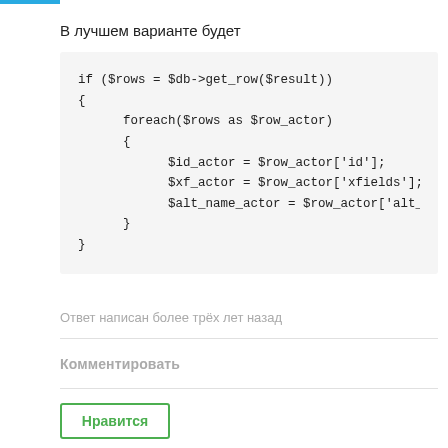В лучшем варианте будет
Ответ написан более трёх лет назад
Комментировать
Нравится